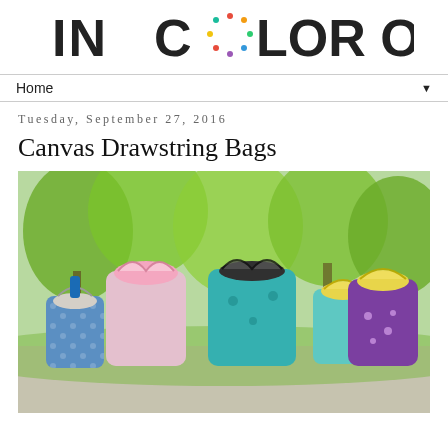IN COLOR ORDER
Home
Tuesday, September 27, 2016
Canvas Drawstring Bags
[Figure (photo): Photo of multiple colorful canvas drawstring bags arranged on an outdoor table with trees and green foliage in the background. Bags feature various fabric prints including blue, pink, teal, black/white, and purple/yellow patterns.]